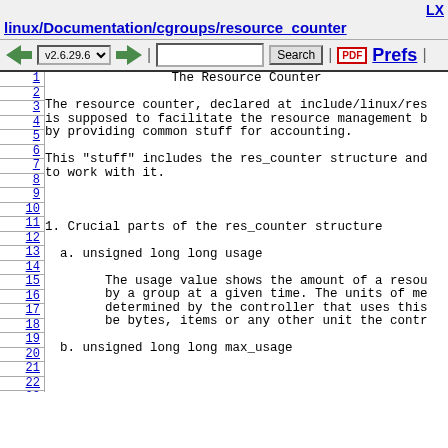LX linux/Documentation/cgroups/resource_counter
v2.6.29.6 | Search | Prefs
1
2
3
4
5
6
7
8
9
10
11
12
13
14
15
16
17
18
19
20
21
22
23
The Resource Counter
The resource counter, declared at include/linux/res_ is supposed to facilitate the resource management b by providing common stuff for accounting.

This "stuff" includes the res_counter structure and to work with it.
1. Crucial parts of the res_counter structure
a. unsigned long long usage
The usage value shows the amount of a resou by a group at a given time. The units of me determined by the controller that uses this be bytes, items or any other unit the contr
b. unsigned long long max_usage